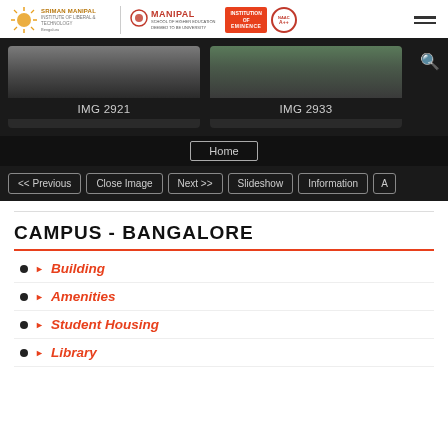[Figure (screenshot): University website header with Sriman Manipal Institute logos, Institution of Eminence badge, NAAC badge, and hamburger menu icon]
[Figure (screenshot): Gallery thumbnails showing two campus photos labeled IMG 2921 and IMG 2933 on dark background]
[Figure (screenshot): Navigation bar with Home button and controls: Previous, Close Image, Next, Slideshow, Information]
CAMPUS - BANGALORE
Building
Amenities
Student Housing
Library